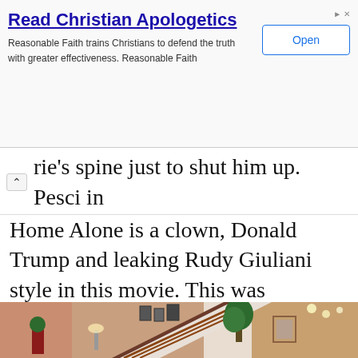[Figure (screenshot): Advertisement banner for 'Read Christian Apologetics' with an Open button]
rie's spine just to shut him up. Pesci in Home Alone is a clown, Donald Trump and leaking Rudy Giuliani style in this movie. This was probably the hardest thing to ingest, but ingest you must with this horrible, horrible movie.
[Figure (screenshot): Movie still from Home Alone showing the interior foyer with a staircase, decorated for Christmas, with a tall plant near the stairs and holiday decorations visible.]